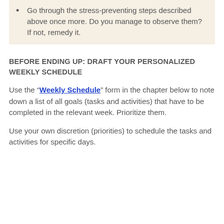Go through the stress-preventing steps described above once more. Do you manage to observe them? If not, remedy it.
BEFORE ENDING UP: DRAFT YOUR PERSONALIZED WEEKLY SCHEDULE
Use the “Weekly Schedule” form in the chapter below to note down a list of all goals (tasks and activities) that have to be completed in the relevant week. Prioritize them.
Use your own discretion (priorities) to schedule the tasks and activities for specific days.